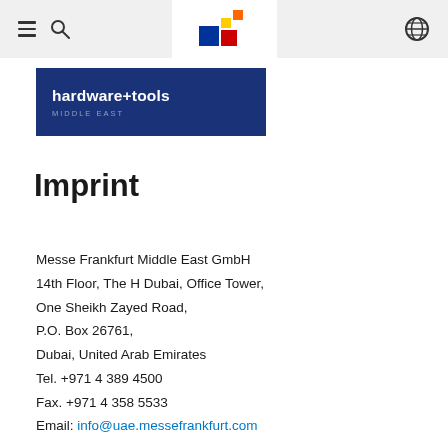Navigation bar with hamburger menu, search icon, Messe Frankfurt logo, and globe icon
[Figure (logo): hardware+tools MIDDLE EAST logo on dark blue background]
Imprint
Messe Frankfurt Middle East GmbH
14th Floor, The H Dubai, Office Tower,
One Sheikh Zayed Road,
P.O. Box 26761,
Dubai, United Arab Emirates
Tel. +971 4 389 4500
Fax. +971 4 358 5533
Email: info@uae.messefrankfurt.com